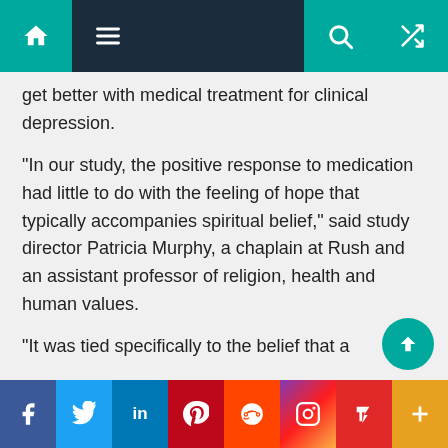Navigation bar with home, menu, search, and shuffle icons
get better with medical treatment for clinical depression.
“In our study, the positive response to medication had little to do with the feeling of hope that typically accompanies spiritual belief,” said study director Patricia Murphy, a chaplain at Rush and an assistant professor of religion, health and human values.
“It was tied specifically to the belief that a Supreme Being cared,” she said.
Data released last year by sociologists from the University of California at Berkeley, in fact, revealed that 93 percent of the nation believes in God, a
Social share bar: Facebook, Twitter, LinkedIn, Pinterest, Reddit, Instagram, Flipboard, More